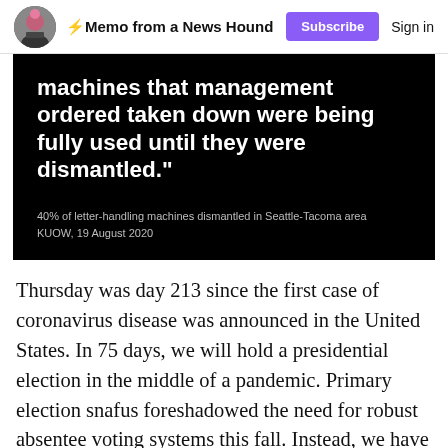⚡Memo from a News Hound   Subscribe   Sign in
[Figure (screenshot): Black background image with white bold text quote: 'machines that management ordered taken down were being fully used until they were dismantled.' Below in smaller gray text: '40% of letter-handling machines dismantled in Seattle-Tacoma area / KUOW, 19 August 2020']
Thursday was day 213 since the first case of coronavirus disease was announced in the United States. In 75 days, we will hold a presidential election in the middle of a pandemic. Primary election snafus foreshadowed the need for robust absentee voting systems this fall. Instead, we have a dismantling of the United States Postal Service.